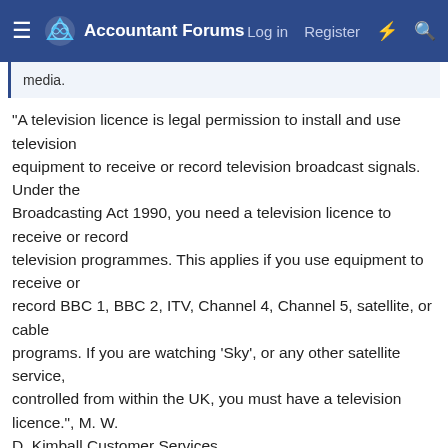Accountant Forums | Log in | Register
media.
"A television licence is legal permission to install and use television equipment to receive or record television broadcast signals. Under the Broadcasting Act 1990, you need a television licence to receive or record television programmes. This applies if you use equipment to receive or record BBC 1, BBC 2, ITV, Channel 4, Channel 5, satellite, or cable programs. If you are watching 'Sky', or any other satellite service, controlled from within the UK, you must have a television licence.", M. W. D. Kimball Customer Services.
so if the tv was not receiving (nt connected and de-tuned) they cannot force